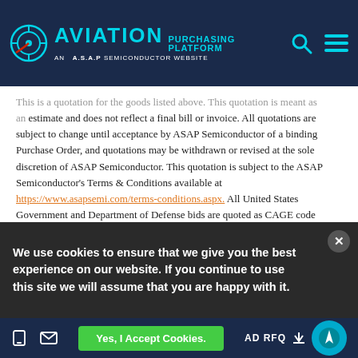AVIATION PURCHASING PLATFORM - AN A.S.A.P SEMICONDUCTOR WEBSITE
This is a quotation for the goods listed above. This quotation is meant as an estimate and does not reflect a final bill or invoice. All quotations are subject to change until acceptance by ASAP Semiconductor of a binding Purchase Order, and quotations may be withdrawn or revised at the sole discretion of ASAP Semiconductor. This quotation is subject to the ASAP Semiconductor's Terms & Conditions available at https://www.asapsemi.com/terms-conditions.aspx. All United States Government and Department of Defense bids are quoted as CAGE code 6RE77 from ASAP Semiconductor's Irvine, California facility. Any quotation from ASAP Semiconductor without CAGE code 6RE77 is void.
We use cookies to ensure that we give you the best experience on our website. If you continue to use this site we will assume that you are happy with it.
Yes, I Accept Cookies.